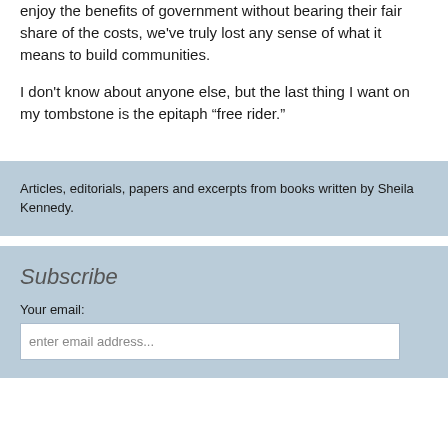enjoy the benefits of government without bearing their fair share of the costs, we've truly lost any sense of what it means to build communities.
I don't know about anyone else, but the last thing I want on my tombstone is the epitaph “free rider.”
Articles, editorials, papers and excerpts from books written by Sheila Kennedy.
Subscribe
Your email:
enter email address...